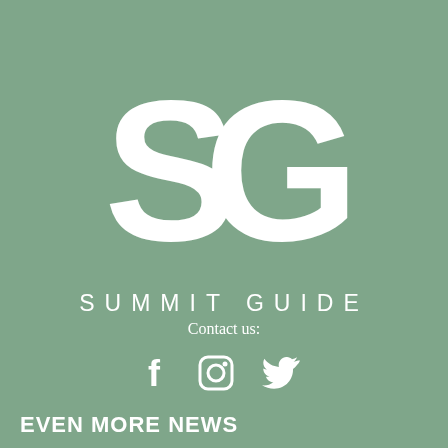[Figure (logo): Summit Guide logo: large white SG letters on sage green background, with 'SUMMIT GUIDE' lettered below in spaced white capitals]
Contact us:
[Figure (infographic): Three white social media icons: Facebook (f), Instagram (circle with dot), Twitter (bird)]
EVEN MORE NEWS